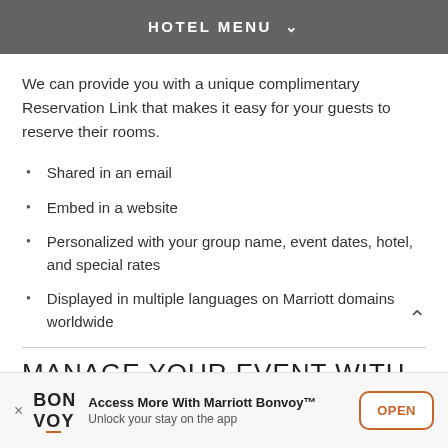HOTEL MENU
We can provide you with a unique complimentary Reservation Link that makes it easy for your guests to reserve their rooms.
Shared in an email
Embed in a website
Personalized with your group name, event dates, hotel, and special rates
Displayed in multiple languages on Marriott domains worldwide
MANAGE YOUR EVENT WITH EASE
Access More With Marriott Bonvoy™ Unlock your stay on the app